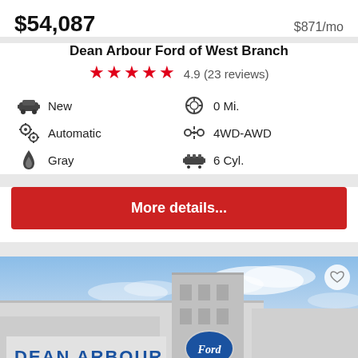$54,087
$871/mo
Dean Arbour Ford of West Branch
★★★★★ 4.9 (23 reviews)
New
0 Mi.
Automatic
4WD-AWD
Gray
6 Cyl.
More details...
[Figure (photo): Dean Arbour Ford dealership exterior building with blue sign reading DEAN ARBOUR and Ford oval logo, against a blue sky]
Sort
Filter